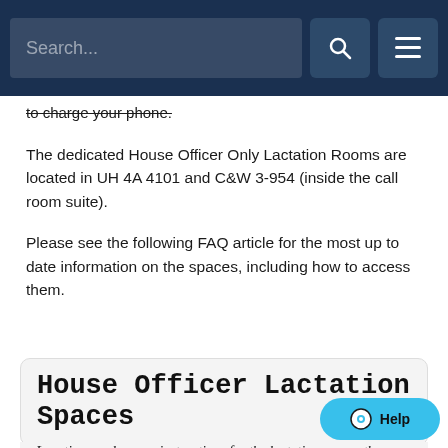Search...
to charge your phone.
The dedicated House Officer Only Lactation Rooms are located in UH 4A 4101 and C&W 3-954 (inside the call room suite).
Please see the following FAQ article for the most up to date information on the spaces, including how to access them.
House Officer Lactation Spaces
Locations and access instructions for the lactation spaces the HOA has